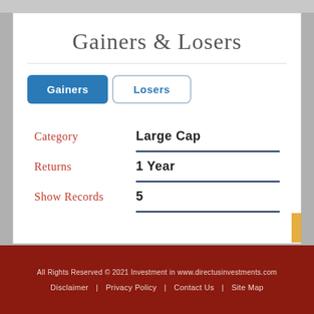Gainers & Losers
Gainers | Losers
Category   Large Cap
Returns   1 Year
Show Records   5
All Rights Reserved © 2021 Investment in www.directusinvestments.com
Disclaimer  Privacy Policy  Contact Us  Site Map